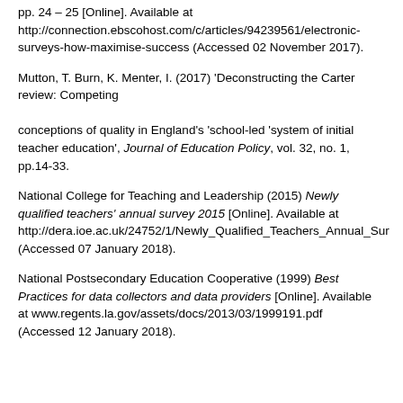pp. 24 – 25 [Online]. Available at http://connection.ebscohost.com/c/articles/94239561/electronic-surveys-how-maximise-success (Accessed 02 November 2017).
Mutton, T. Burn, K. Menter, I. (2017) 'Deconstructing the Carter review: Competing conceptions of quality in England's 'school-led 'system of initial teacher education', Journal of Education Policy, vol. 32, no. 1, pp.14-33.
National College for Teaching and Leadership (2015) Newly qualified teachers' annual survey 2015 [Online]. Available at http://dera.ioe.ac.uk/24752/1/Newly_Qualified_Teachers_Annual_Sur (Accessed 07 January 2018).
National Postsecondary Education Cooperative (1999) Best Practices for data collectors and data providers [Online]. Available at www.regents.la.gov/assets/docs/2013/03/1999191.pdf (Accessed 12 January 2018).